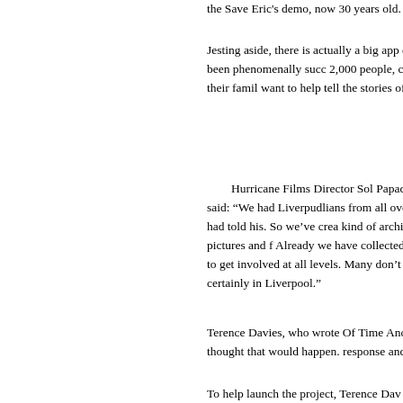the Save Eric's demo, now 30 years old.
Jesting aside, there is actually a big app city life. The Secrets of Smithdown Road Liverpool has been phenomenally succ 2,000 people, commissioned by Hurrica opinion, said they want to tell their famil want to help tell the stories of their home
Hurricane Films Director Sol Papadop said: "We had Liverpudlians from all ove world wanting to tell their story, inspired way Terence had told his. So we've crea kind of archival facebook where people upload and share stories, pictures and f Already we have collected some fantast stories. And our poll shows that people a to get involved at all levels. Many don't k how, so we're really hoping People's Sto change that, certainly in Liverpool."
Terence Davies, who wrote Of Time Anc "The film I made with Hurricane seems t and I never thought that would happen. response and that this project has been
To help launch the project, Terence Dav contributed to the site with their own me Jonathan Pryce, Alexei Sayle, Joe McGi